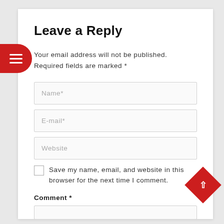Leave a Reply
Your email address will not be published. Required fields are marked *
[Figure (screenshot): Name* input field (text box with placeholder 'Name*')]
[Figure (screenshot): E-mail* input field (text box with placeholder 'E-mail*')]
[Figure (screenshot): Website input field (text box with placeholder 'Website')]
Save my name, email, and website in this browser for the next time I comment.
Comment *
[Figure (screenshot): Comment text area (empty input box)]